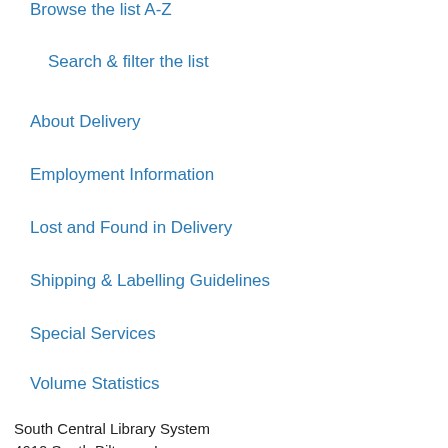Browse the list A-Z
Search & filter the list
About Delivery
Employment Information
Lost and Found in Delivery
Shipping & Labelling Guidelines
Special Services
Volume Statistics
South Central Library System
4610 South Biltmore Lane
Madison, WI 53718
(608) 246-7970
Toll-free: (855) 516-7257
Fax: (608) 246-7958
Facebook: SCLS & LINKcat